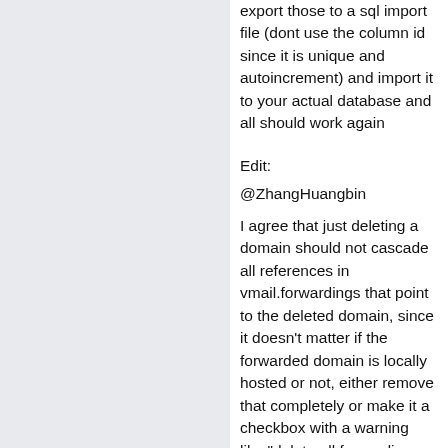export those to a sql import file (dont use the column id since it is unique and autoincrement) and import it to your actual database and all should work again
Edit:
@ZhangHuangbin
I agree that just deleting a domain should not cascade all references in vmail.forwardings that point to the deleted domain, since it doesn't matter if the forwarded domain is locally hosted or not, either remove that completely or make it a checkbox with a warning like "delete all forwardings pointing to that domain aswell" so ppl have the choice to do so if they want